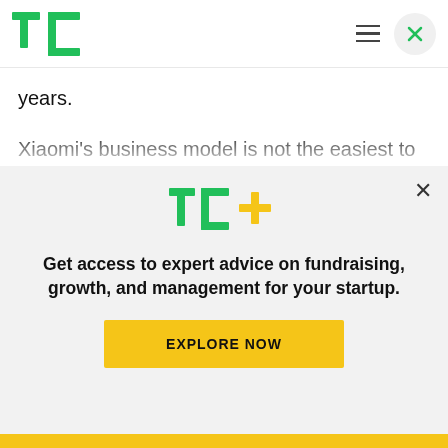TechCrunch header with logo and navigation
years.
Xiaomi's business model is not the easiest to appreciate if you have never tried its products. Its holistic value proposition doesn't have an easy equivalent in the US. I frequently get asked questions about how the company works and what justifies its valuation for each round over the years
[Figure (logo): TechCrunch TC+ logo in green with yellow plus sign]
Get access to expert advice on fundraising, growth, and management for your startup.
EXPLORE NOW